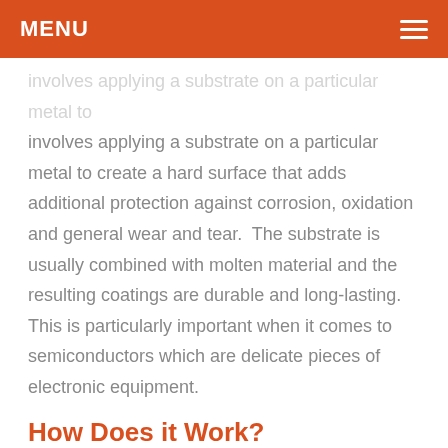MENU
involves applying a substrate on a particular metal to create a hard surface that adds additional protection against corrosion, oxidation and general wear and tear.  The substrate is usually combined with molten material and the resulting coatings are durable and long-lasting. This is particularly important when it comes to semiconductors which are delicate pieces of electronic equipment.
How Does it Work?
Without getting too technical, the plasma spraying